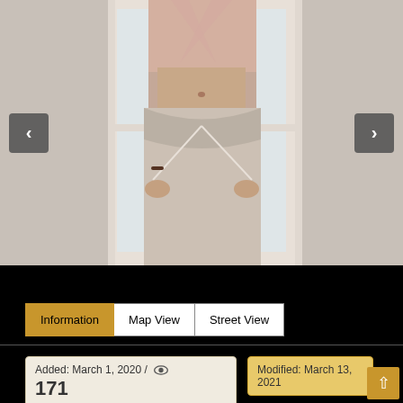[Figure (photo): Photo of a person's torso wearing a pink/beige crossover crop top and low-rise beige ruched pants with drawstring detail, standing in front of a window. Navigation arrows on left and right sides of the photo.]
Information  Map View  Street View
Added: March 1, 2020 /  👁  171
Modified: March 13, 2021